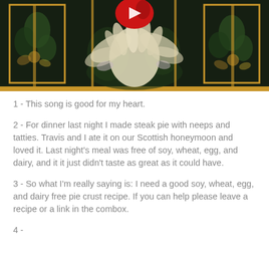[Figure (photo): Ornate decorative tapestry or inlay artwork featuring a bird (possibly a crane or rooster) with cream/ivory feathers and a red comb/heart shape at the top, set against a dark green/black background with gold bamboo frames and floral/leaf motifs on the left and right panels.]
1 - This song is good for my heart.
2 - For dinner last night I made steak pie with neeps and tatties. Travis and I ate it on our Scottish honeymoon and loved it. Last night's meal was free of soy, wheat, egg, and dairy, and it it just didn't taste as great as it could have.
3 - So what I'm really saying is: I need a good soy, wheat, egg, and dairy free pie crust recipe. If you can help please leave a recipe or a link in the combox.
4 - (partially visible at bottom)